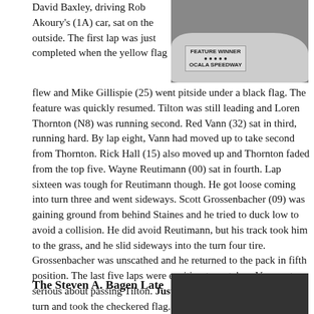[Figure (photo): Photo of a race car with a 'Feature Winner Ocala Speedway' sign on it]
David Baxley, driving Rob Akoury's (1A) car, sat on the outside. The first lap was just completed when the yellow flag flew and Mike Gillispie (25) went pitside under a black flag. The feature was quickly resumed. Tilton was still leading and Loren Thornton (N8) was running second. Red Vann (32) sat in third, running hard. By lap eight, Vann had moved up to take second from Thornton. Rick Hall (15) also moved up and Thornton faded from the top five. Wayne Reutimann (00) sat in fourth. Lap sixteen was tough for Reutimann though. He got loose coming into turn three and went sideways. Scott Grossenbacher (09) was gaining ground from behind Staines and he tried to duck low to avoid a collision. He did avoid Reutimann, but his track took him to the grass, and he slid sideways into the turn four tire. Grossenbacher was unscathed and he returned to the pack in fifth position. The last five laps were exciting to watch as Vann got serious about passing Tilton. Justin Tilton held him off at every turn and took the checkered flag. Red Vann settled for second. Ed Brown took home third. Rick Hall and Scott Grossenbacher filled out the top five.
The Steven A. Bagen Late
[Figure (photo): Photo of people at a racing event, dark background]